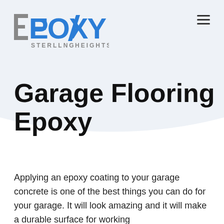[Figure (logo): Epoxy Sterling Heights logo with blue EPOXY text and gray STERLLNG HEIGHTS text below]
Garage Flooring Epoxy
Applying an epoxy coating to your garage concrete is one of the best things you can do for your garage. It will look amazing and it will make a durable surface for working